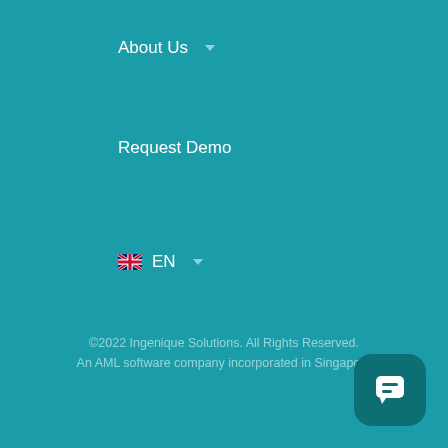About Us ▾
Request Demo
🇬🇧 EN ▾
Follow Us
[Figure (infographic): Social media icons: Facebook, LinkedIn, Twitter, YouTube]
©2022 Ingenique Solutions. All Rights Reserved. An AML software company incorporated in Singapore